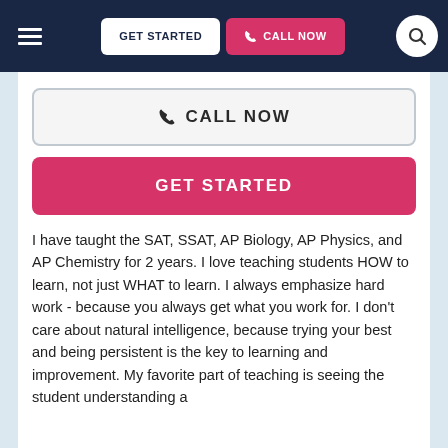GET STARTED | CALL NOW
CALL NOW
GET STARTED
I have taught the SAT, SSAT, AP Biology, AP Physics, and AP Chemistry for 2 years. I love teaching students HOW to learn, not just WHAT to learn. I always emphasize hard work - because you always get what you work for. I don't care about natural intelligence, because trying your best and being persistent is the key to learning and improvement. My favorite part of teaching is seeing the student understanding a